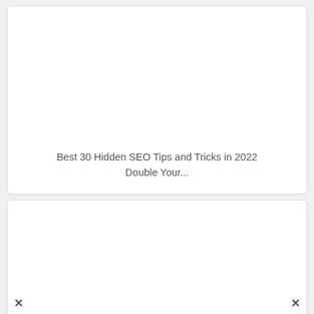[Figure (other): White card with blank image area at top and text below]
Best 30 Hidden SEO Tips and Tricks in 2022 Double Your...
[Figure (other): Second white card with blank image area, partially visible]